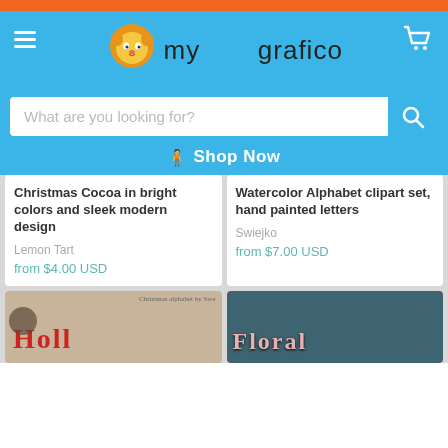[Figure (screenshot): Orange top bar of the mygrafico website]
[Figure (logo): mygrafico logo with lion mascot on blue background header, with hamburger menu and cart icon]
[Figure (screenshot): Search bar with placeholder text 'What are you looking for?' and blue search button]
Shop Now
Christmas Cocoa in bright colors and sleek modern design
Lemon Tart
from $4.00 USD
Watercolor Alphabet clipart set, hand painted letters
Swiejko
from $7.00 USD
[Figure (photo): Holiday alphabet product image showing 'Holl' text in red on beige/brown background with pine cone]
[Figure (photo): Floral alphabet product image showing 'Floral' text on dark teal background]